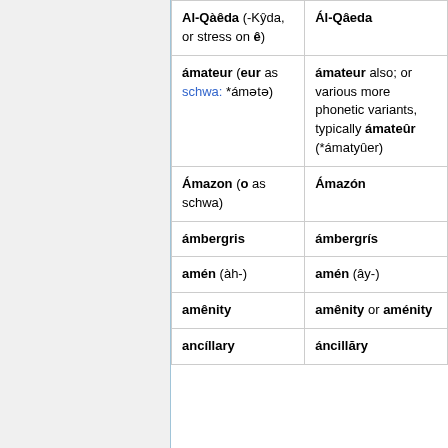| Column 1 | Column 2 |
| --- | --- |
| Al-Qàêda (- Kŷda, or stress on ê) | Ál-Qâeda |
| ámateur (eur as schwa: *ámətə) | ámateur also; or various more phonetic variants, typically ámateûr (*ámatyûer) |
| Ámazon (o as schwa) | Ámazón |
| ámbergris | ámbergrís |
| amén (àh-) | amén (ây-) |
| amênity | amênity or aménity |
| ancíllary | áncillăry |